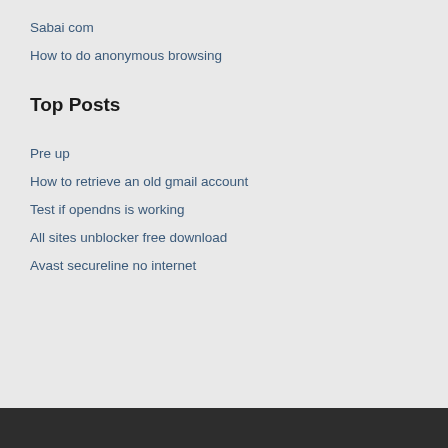Sabai com
How to do anonymous browsing
Top Posts
Pre up
How to retrieve an old gmail account
Test if opendns is working
All sites unblocker free download
Avast secureline no internet